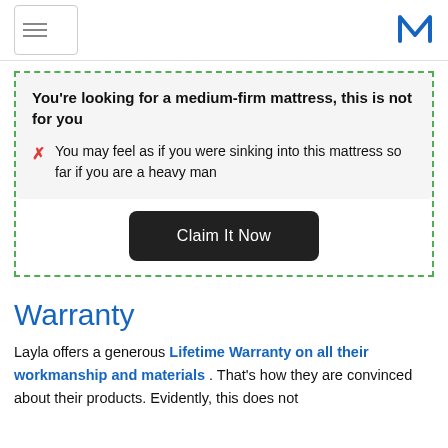You're looking for a medium-firm mattress, this is not for you
You may feel as if you were sinking into this mattress so far if you are a heavy man
Claim It Now
Warranty
Layla offers a generous Lifetime Warranty on all their workmanship and materials . That's how they are convinced about their products. Evidently, this does not